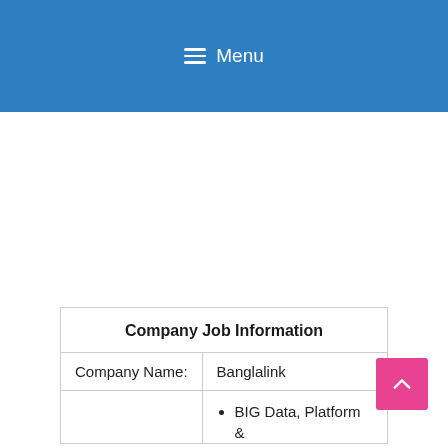Menu
|  | Company Job Information |
| --- | --- |
| Company Name: | Banglalink |
|  | BIG Data, Platform & |